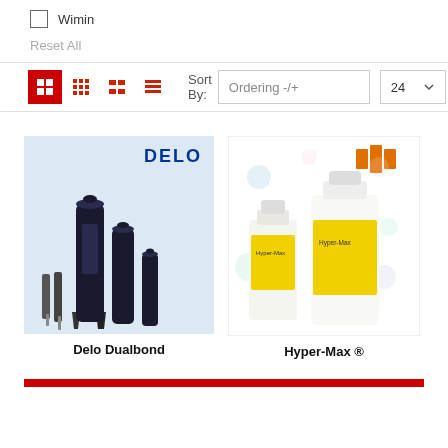Wimin
Reset All
[Figure (screenshot): Toolbar with view toggle buttons (grid active in red), Sort By dropdown showing 'Ordering -/+', and count selector showing '24']
[Figure (photo): Delo Dualbond product image showing multiple black cylindrical adhesive dispensers of various sizes on light blue background with DELO logo]
Delo Dualbond
[Figure (photo): Hyper-Max product image showing two yellow-labeled bottles (one small, one large gallon jug) with floral background decoration and mts innovation logo]
Hyper-Max ®